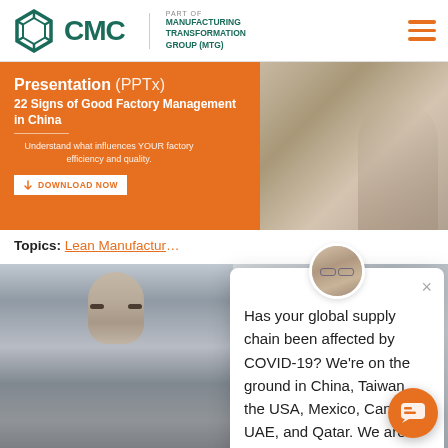[Figure (screenshot): CMC logo with hexagon icon and Manufacturing Transformation Group (MTG) text, navigation bar with hamburger menu]
[Figure (screenshot): Orange promotional banner for Presentation (PPTx) - 22 Signs of Good Factory Management in China with Download Now button]
Topics: Lean Manufactur...
[Figure (screenshot): Chat popup overlay with avatar photo showing message: Has your global supply chain been affected by COVID-19? We're on the ground in China, Taiwan, the USA, Mexico, Canada, UAE, and Qatar. We are also available online for consultations today ↓↓↓]
[Figure (photo): Photo of a man's face from forehead to chin, blurred background]